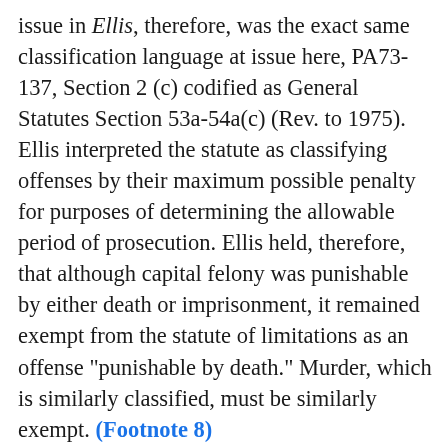issue in Ellis, therefore, was the exact same classification language at issue here, PA73-137, Section 2 (c) codified as General Statutes Section 53a-54a(c) (Rev. to 1975). Ellis interpreted the statute as classifying offenses by their maximum possible penalty for purposes of determining the allowable period of prosecution. Ellis held, therefore, that although capital felony was punishable by either death or imprisonment, it remained exempt from the statute of limitations as an offense "punishable by death." Murder, which is similarly classified, must be similarly exempt. (Footnote 8)
A further indication that the legislature did not change the allowable period of prosecution for murder is the fact that, although PA73-137 amended several provisions of the General Statutes to reflect changes wrought by the new death penalty provisions, it did not amend the statute of limitations in General Statutes